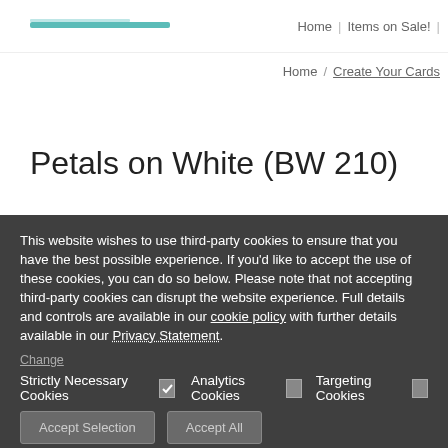Home | Items on Sale! |
Home / Create Your Cards
Petals on White (BW 210)
This website wishes to use third-party cookies to ensure that you have the best possible experience. If you'd like to accept the use of these cookies, you can do so below. Please note that not accepting third-party cookies can disrupt the website experience. Full details and controls are available in our cookie policy with further details available in our Privacy Statement.
Change
Strictly Necessary Cookies [checked] Analytics Cookies [ ] Targeting Cookies [ ]
Accept Selection  Accept All